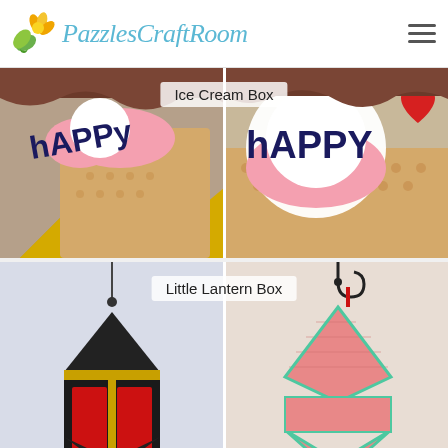PazzlesCraftRoom
[Figure (photo): Two side-by-side photos of an ice cream cone shaped paper craft box with 'hAPPY' text decoration. Left photo shows the open box interior, right photo shows close-up of the decorated top.]
Ice Cream Box
[Figure (photo): Two side-by-side photos of a little lantern shaped paper craft box. Left photo shows a black and gold lantern box with red window panels, right photo shows a pink/coral lantern box with mint green trim.]
Little Lantern Box